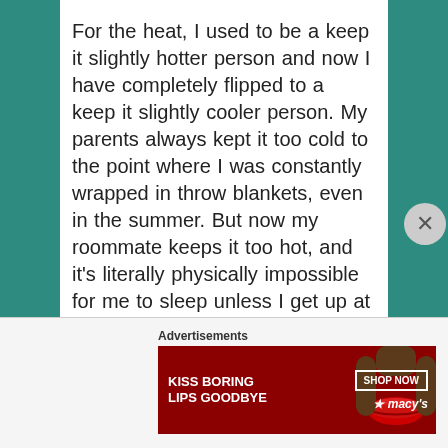For the heat, I used to be a keep it slightly hotter person and now I have completely flipped to a keep it slightly cooler person. My parents always kept it too cold to the point where I was constantly wrapped in throw blankets, even in the summer. But now my roommate keeps it too hot, and it's literally physically impossible for me to sleep unless I get up at midnight and turn it down. Plus I have been gifted way too many throw blankets for a single
Advertisements
[Figure (other): Advertisement banner for Macy's lipstick: 'KISS BORING LIPS GOODBYE' with SHOP NOW button and Macy's star logo, red background with woman's face showing red lips]